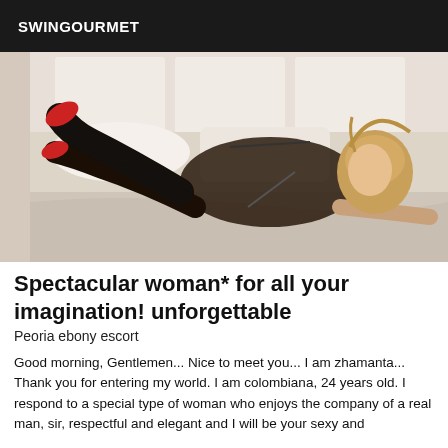SWINGOURMET
[Figure (photo): Woman in black lingerie and red heels posed on a bed with white bedding and pillows]
Spectacular woman* for all your imagination! unforgettable
Peoria ebony escort
Good morning, Gentlemen... Nice to meet you... I am zhamanta... Thank you for entering my world. I am colombiana, 24 years old. I respond to a special type of woman who enjoys the company of a real man, sir, respectful and elegant and I will be your sexy and